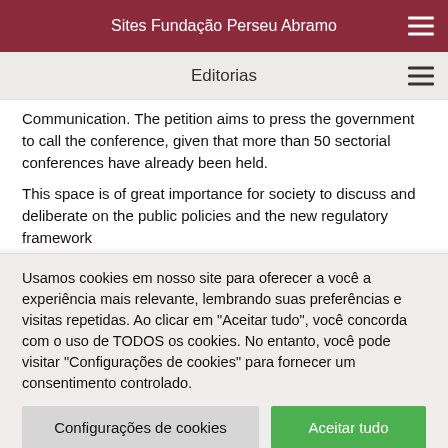Sites Fundação Perseu Abramo
Editorias
Communication. The petition aims to press the government to call the conference, given that more than 50 sectorial conferences have already been held.
This space is of great importance for society to discuss and deliberate on the public policies and the new regulatory framework
Usamos cookies em nosso site para oferecer a você a experiência mais relevante, lembrando suas preferências e visitas repetidas. Ao clicar em "Aceitar tudo", você concorda com o uso de TODOS os cookies. No entanto, você pode visitar "Configurações de cookies" para fornecer um consentimento controlado.
Configurações de cookies
Aceitar tudo